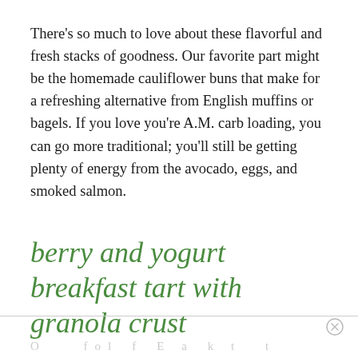There's so much to love about these flavorful and fresh stacks of goodness. Our favorite part might be the homemade cauliflower buns that make for a refreshing alternative from English muffins or bagels. If you love you're A.M. carb loading, you can go more traditional; you'll still be getting plenty of energy from the avocado, eggs, and smoked salmon.
berry and yogurt breakfast tart with granola crust